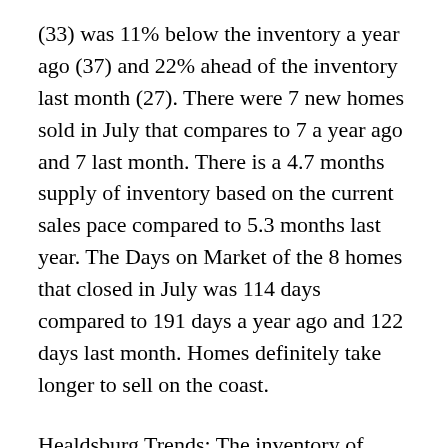(33) was 11% below the inventory a year ago (37) and 22% ahead of the inventory last month (27). There were 7 new homes sold in July that compares to 7 a year ago and 7 last month. There is a 4.7 months supply of inventory based on the current sales pace compared to 5.3 months last year. The Days on Market of the 8 homes that closed in July was 114 days compared to 191 days a year ago and 122 days last month. Homes definitely take longer to sell on the coast.
Healdsburg Trends: The inventory of homes and condominiums available in Healdsburg settled slightly in July after rising for six straight months. Inventory stood at 71 homes at the end of the month. This is 5% below the inventory last July (75) and slightly below the inventory of last month (73). Sales